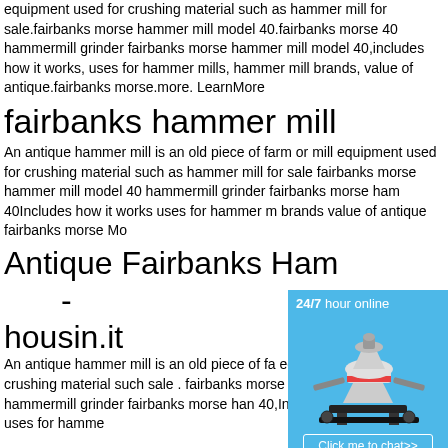equipment used for crushing material such as hammer mill for sale.fairbanks morse hammer mill model 40.fairbanks morse 40 hammermill grinder fairbanks morse hammer mill model 40,includes how it works, uses for hammer mills, hammer mill brands, value of antique.fairbanks morse.more. LearnMore
fairbanks hammer mill
An antique hammer mill is an old piece of farm or mill equipment used for crushing material such as hammer mill for sale fairbanks morse hammer mill model 40 hammermill grinder fairbanks morse ham 40Includes how it works uses for hammer m brands value of antique fairbanks morse Mo
Antique Fairbanks Ham - housin.it
An antique hammer mill is an old piece of fa equipment used for crushing material such sale . fairbanks morse hammer mill model 4 40 hammermill grinder fairbanks morse han 40,Includes: how it works, uses for hamme
[Figure (infographic): Blue sidebar widget with '24/7 hour online' header, image of industrial cone crusher machine, 'Click me to chat>>' button, 'Enquiry' section, and 'limingjlmofen' text at bottom]